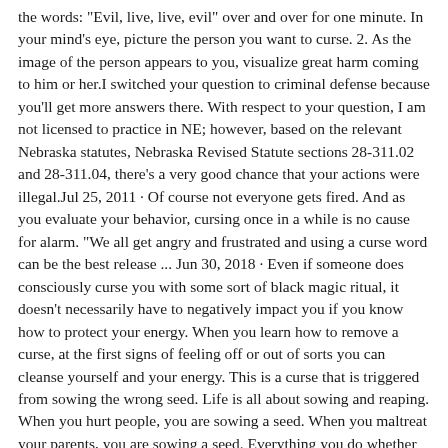the words: "Evil, live, live, evil" over and over for one minute. In your mind's eye, picture the person you want to curse. 2. As the image of the person appears to you, visualize great harm coming to him or her.I switched your question to criminal defense because you'll get more answers there. With respect to your question, I am not licensed to practice in NE; however, based on the relevant Nebraska statutes, Nebraska Revised Statute sections 28-311.02 and 28-311.04, there's a very good chance that your actions were illegal.Jul 25, 2011 · Of course not everyone gets fired. And as you evaluate your behavior, cursing once in a while is no cause for alarm. "We all get angry and frustrated and using a curse word can be the best release ... Jun 30, 2018 · Even if someone does consciously curse you with some sort of black magic ritual, it doesn't necessarily have to negatively impact you if you know how to protect your energy. When you learn how to remove a curse, at the first signs of feeling off or out of sorts you can cleanse yourself and your energy. This is a curse that is triggered from sowing the wrong seed. Life is all about sowing and reaping. When you hurt people, you are sowing a seed. When you maltreat your parents, you are sowing a seed. Everything you do whether good or bad is a seed. A curse can surely be triggered by sowing the wrong seeds. Remedy For The Curse Of Seed Time and ...6 Nidstang. If you ever see someone with a horse's skull on a pole, be wary of their intentions. Granted, you probably didn't need us to tell you that, but just in case—they might be trying to perform a nidstang, a